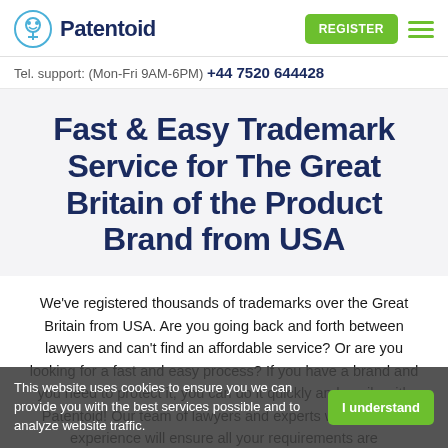Patentoid | Tel. support: (Mon-Fri 9AM-6PM) +44 7520 644428
Fast & Easy Trademark Service for The Great Britain of the Product Brand from USA
We've registered thousands of trademarks over the Great Britain from USA. Are you going back and forth between lawyers and can't find an affordable service? Or are you looking for a fast and easy process? If you have a brand and you need to protect it, you can do it quickly and easily with Patentoid! Our team of lawyers and experts with years of experience will ensure all your requirements are met.
This website uses cookies to ensure you we can provide you with the best services possible and to analyze website traffic.